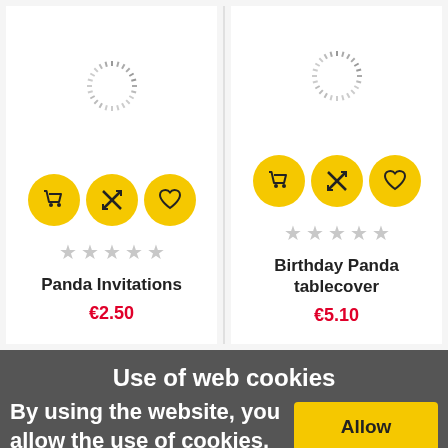[Figure (illustration): Loading spinner circle (dashed ring) above left product card]
[Figure (illustration): Loading spinner circle (dashed ring) above right product card]
[Figure (illustration): Three yellow circle buttons: shopping cart, compare (X arrows), heart/wishlist for left product]
[Figure (illustration): Three yellow circle buttons: shopping cart, compare (X arrows), heart/wishlist for right product]
Panda Invitations
€2.50
Birthday Panda tablecover
€5.10
Use of web cookies
By using the website, you allow the use of cookies.
Allow